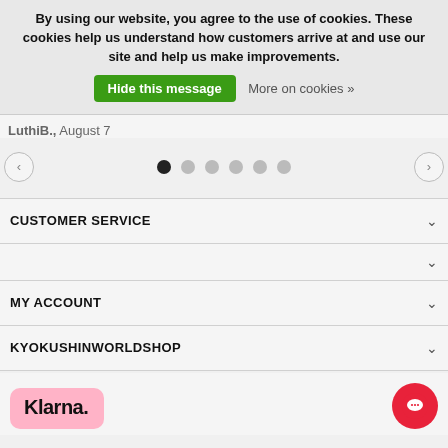By using our website, you agree to the use of cookies. These cookies help us understand how customers arrive at and use our site and help us make improvements. Hide this message More on cookies »
LuthiB., August 7
[Figure (other): Carousel navigation with left and right arrow buttons and 6 pagination dots, first dot active (dark), rest light gray]
CUSTOMER SERVICE
MY ACCOUNT
KYOKUSHINWORLDSHOP
[Figure (logo): Klarna logo in bold black text on pink/salmon rounded rectangle background]
[Figure (other): Red circular chat/support button with speech bubble icon]